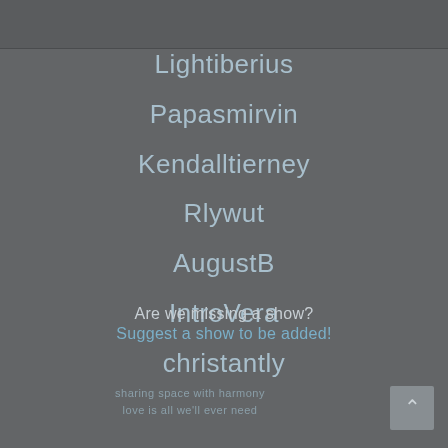Lightiberius
Papasmirvin
Kendalltierney
Rlywut
AugustB
IntroVera
christantly
Are we missing a show?
Suggest a show to be added!
sharing space with harmony
love is all we'll ever need